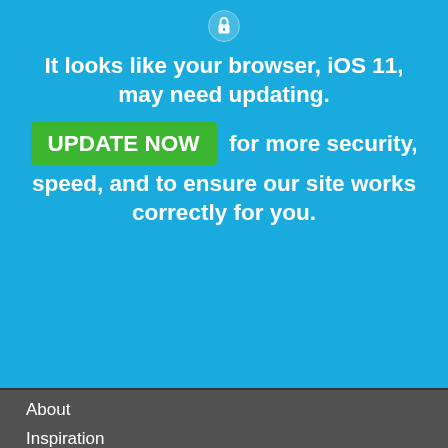[Figure (screenshot): Lock/security icon at top of blue browser update banner]
It looks like your browser, iOS 11, may need updating.
UPDATE NOW for more security, speed, and to ensure our site works correctly for you.
About
Inspiration
FAQ
Subscribe
C
B
C
Tr
W
Tr
Sustainable Tourism
It looks like you're in United States. Visit your local site for the most relevant pricing and information.
Switch to United States